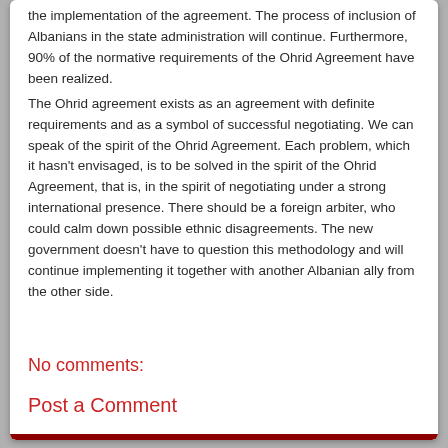the implementation of the agreement. The process of inclusion of Albanians in the state administration will continue. Furthermore, 90% of the normative requirements of the Ohrid Agreement have been realized.
The Ohrid agreement exists as an agreement with definite requirements and as a symbol of successful negotiating. We can speak of the spirit of the Ohrid Agreement. Each problem, which it hasn't envisaged, is to be solved in the spirit of the Ohrid Agreement, that is, in the spirit of negotiating under a strong international presence. There should be a foreign arbiter, who could calm down possible ethnic disagreements. The new government doesn't have to question this methodology and will continue implementing it together with another Albanian ally from the other side.
No comments:
Post a Comment